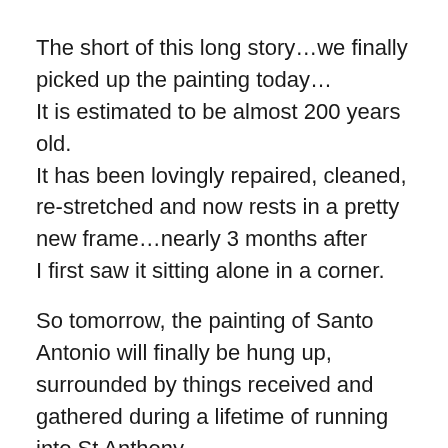The short of this long story…we finally picked up the painting today…
It is estimated to be almost 200 years old.
It has been lovingly repaired, cleaned, re-stretched and now rests in a pretty new frame…nearly 3 months after
I first saw it sitting alone in a corner.

So tomorrow, the painting of Santo Antonio will finally be hung up, surrounded by things received and gathered during a lifetime of running into St Anthony.

I don't know its origin.
I don't know its artist.
I don't know if the Vatican ever really once owned it or not.
And I don't know the abbey that held on to it all these